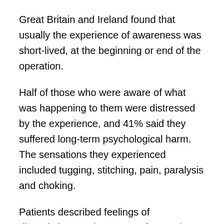Great Britain and Ireland found that usually the experience of awareness was short-lived, at the beginning or end of the operation.
Half of those who were aware of what was happening to them were distressed by the experience, and 41% said they suffered long-term psychological harm. The sensations they experienced included tugging, stitching, pain, paralysis and choking.
Patients described feelings of dissociation, panic, extreme fear and suffocation. Some said they feared they had been entombed, buried alive or were dead.
Prof Jaideep Pandit, consultant anaesthetist at the John Radcliffe hospital in Oxford and one of the authors of the report, said the Royal College and Association had